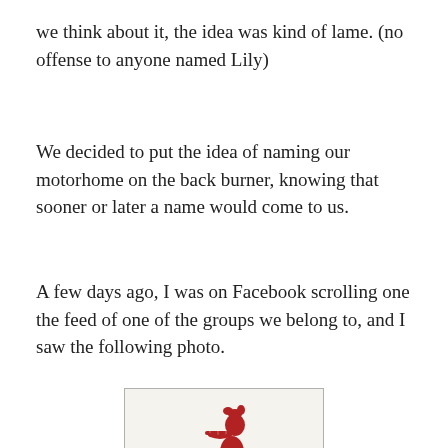we think about it, the idea was kind of lame. (no offense to anyone named Lily)
We decided to put the idea of naming our motorhome on the back burner, knowing that sooner or later a name would come to us.
A few days ago, I was on Facebook scrolling one the feed of one of the groups we belong to, and I saw the following photo.
[Figure (photo): A wine bottle label showing a red illustrated figure of a whimsical elf-like character playing a flute with a small dog/creature beside it. Below the illustration the label reads 'coddiwomple' with a phonetic pronunciation partially visible.]